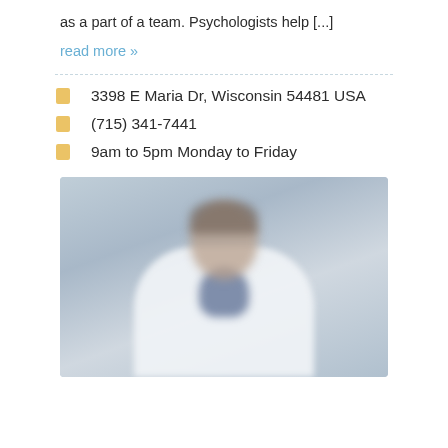as a part of a team. Psychologists help [...]
read more »
3398 E Maria Dr, Wisconsin 54481 USA
(715) 341-7441
9am to 5pm Monday to Friday
[Figure (photo): Blurred photo of a male doctor in a white coat against a grey background]